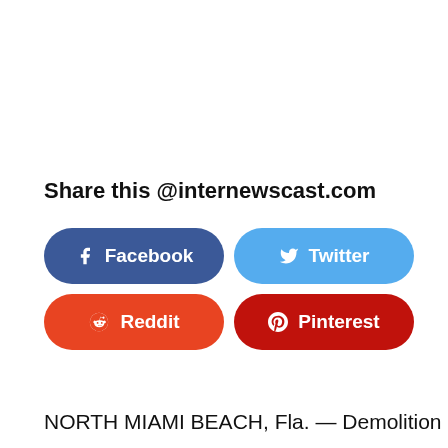Share this @internewscast.com
[Figure (infographic): Four social share buttons in a 2x2 grid: Facebook (dark blue), Twitter (light blue), Reddit (orange-red), Pinterest (dark red), each with icon and label in white text on rounded pill-shaped buttons.]
NORTH MIAMI BEACH, Fla. — Demolition